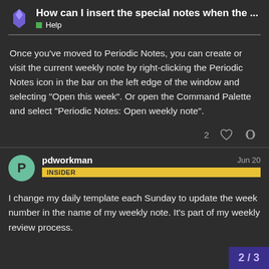How can I insert the special notes when the ... Help
Once you've moved to Periodic Notes, you can create or visit the current weekly note by right-clicking the Periodic Notes icon in the bar on the left edge of the window and selecting “Open this week”. Or open the Command Palette and select “Periodic Notes: Open weekly note”.
2
pdworkman INSIDER Jun 20
I change my daily template each Sunday to update the week number in the name of my weekly note. It’s part of my weekly review process.
2 / 3